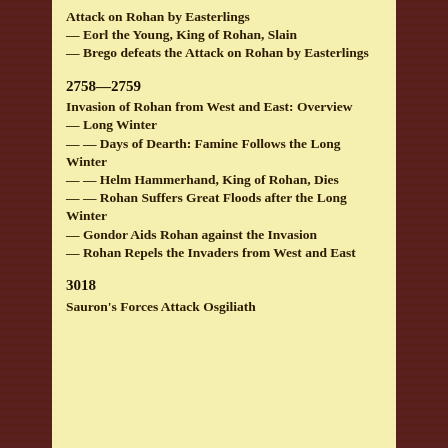Attack on Rohan by Easterlings
— Eorl the Young, King of Rohan, Slain
— Brego defeats the Attack on Rohan by Easterlings
2758—2759
Invasion of Rohan from West and East: Overview
— Long Winter
— — Days of Dearth: Famine Follows the Long Winter
— — Helm Hammerhand, King of Rohan, Dies
— — Rohan Suffers Great Floods after the Long Winter
— Gondor Aids Rohan against the Invasion
— Rohan Repels the Invaders from West and East
3018
Sauron's Forces Attack Osgiliath